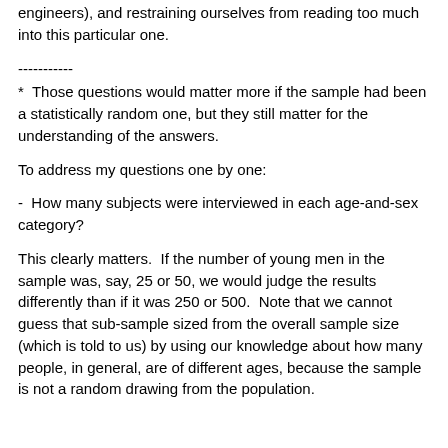engineers), and restraining ourselves from reading too much into this particular one.
-----------
*  Those questions would matter more if the sample had been a statistically random one, but they still matter for the understanding of the answers.
To address my questions one by one:
-  How many subjects were interviewed in each age-and-sex category?
This clearly matters.  If the number of young men in the sample was, say, 25 or 50, we would judge the results differently than if it was 250 or 500.  Note that we cannot guess that sub-sample sized from the overall sample size (which is told to us) by using our knowledge about how many people, in general, are of different ages, because the sample is not a random drawing from the population.